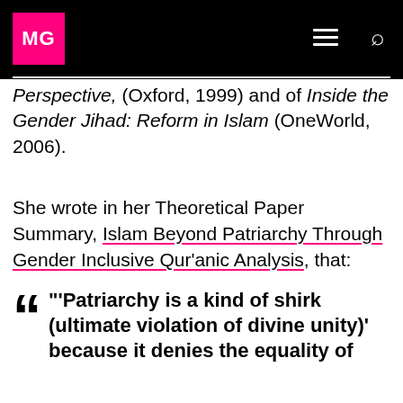MG
Perspective, (Oxford, 1999) and of Inside the Gender Jihad: Reform in Islam (OneWorld, 2006).
She wrote in her Theoretical Paper Summary, Islam Beyond Patriarchy Through Gender Inclusive Qur'anic Analysis, that:
"'Patriarchy is a kind of shirk (ultimate violation of divine unity)' because it denies the equality of